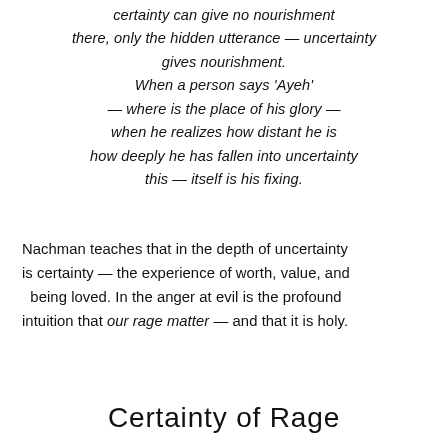certainty can give no nourishment there, only the hidden utterance — uncertainty gives nourishment. When a person says 'Ayeh' — where is the place of his glory — when he realizes how distant he is how deeply he has fallen into uncertainty this — itself is his fixing.
Nachman teaches that in the depth of uncertainty is certainty — the experience of worth, value, and being loved. In the anger at evil is the profound intuition that our rage matter — and that it is holy.
Certainty of Rage